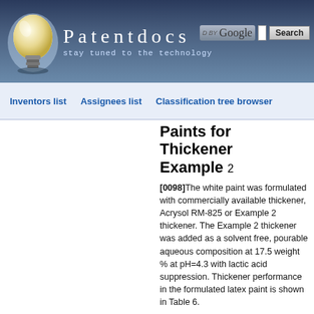[Figure (screenshot): Patentdocs website header with lightbulb logo, site title 'Patentdocs', tagline 'stay tuned to the technology', and Google search bar with Search button]
Inventors list    Assignees list    Classification tree browser
Paints for Thickener Example 2
[0098]The white paint was formulated with commercially available thickener, Acrysol RM-825 or Example 2 thickener. The Example 2 thickener was added as a solvent free, pourable aqueous composition at 17.5 weight % at pH=4.3 with lactic acid suppression. Thickener performance in the formulated latex paint is shown in Table 6.
TABLE-US-00007